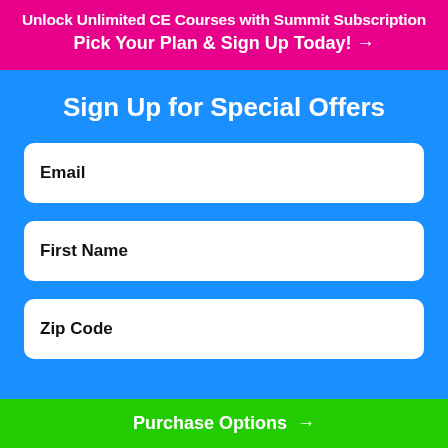Unlock Unlimited CE Courses with Summit Subscription
Pick Your Plan & Sign Up Today! →
Sign Up for Special Offers
Email
First Name
Zip Code
Purchase Options →